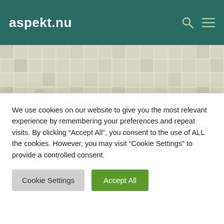aspekt.nu
[Figure (illustration): Mosaic tile background pattern in beige and light grey tones]
KULTUR  Recension  Scenkonst
Dans- och teaterfestivalen...
We use cookies on our website to give you the most relevant experience by remembering your preferences and repeat visits. By clicking "Accept All", you consent to the use of ALL the cookies. However, you may visit "Cookie Settings" to provide a controlled consent.
Cookie Settings  Accept All